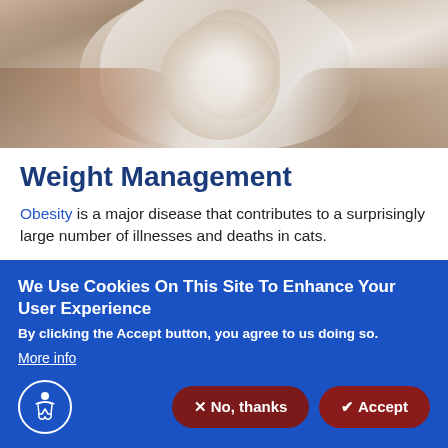[Figure (photo): A person holding a fluffy cat, cropped photo showing arms and cat fur against a light background]
Weight Management
Obesity is a major disease that contributes to a surprisingly large number of illnesses and deaths in cats.
This revelation is more well-known and well-understood today than in the last few decades, but too many owners are still ignoring the dangers of extra weight on their pets. Excess weight
We Use Cookies On This Site To Enhance Your User Experience
By clicking the Accept button, you agree to us doing so.
More info